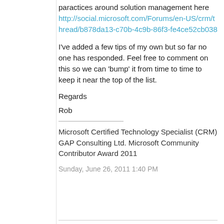paractices around solution management here http://social.microsoft.com/Forums/en-US/crm/thread/b878da13-c70b-4c9b-86f3-fe4ce52cb038
I've added a few tips of my own but so far no one has responded. Feel free to comment on this so we can 'bump' it from time to time to keep it near the top of the list.
Regards
Rob
Microsoft Certified Technology Specialist (CRM) GAP Consulting Ltd. Microsoft Community Contributor Award 2011
Sunday, June 26, 2011 1:40 PM